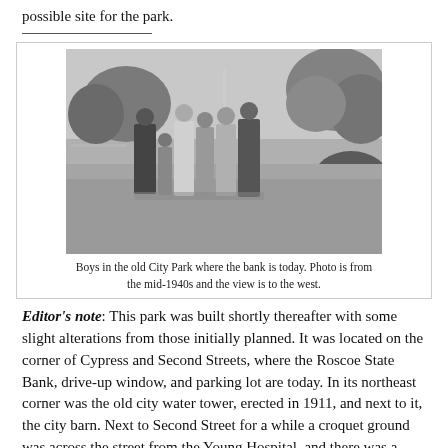possible site for the park.
[Figure (photo): Black and white photograph of boys standing in the old City Park, mid-1940s, view to the west, trees and grass visible in background.]
Boys in the old City Park where the bank is today. Photo is from the mid-1940s and the view is to the west.
Editor's note: This park was built shortly thereafter with some slight alterations from those initially planned. It was located on the corner of Cypress and Second Streets, where the Roscoe State Bank, drive-up window, and parking lot are today. In its northeast corner was the old city water tower, erected in 1911, and next to it, the city barn. Next to Second Street for a while a croquet ground was across the street from the Young Hospital, and there was a large lawn with two large cedar trees near the center of the park.